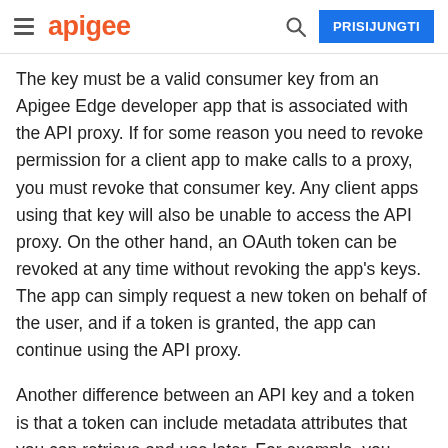apigee | PRISIJUNGTI
The key must be a valid consumer key from an Apigee Edge developer app that is associated with the API proxy. If for some reason you need to revoke permission for a client app to make calls to a proxy, you must revoke that consumer key. Any client apps using that key will also be unable to access the API proxy. On the other hand, an OAuth token can be revoked at any time without revoking the app's keys. The app can simply request a new token on behalf of the user, and if a token is granted, the app can continue using the API proxy.
Another difference between an API key and a token is that a token can include metadata attributes that you can retrieve and use later. For example, you might store the ID of the user making the API call and use it to customize calls to the backend target service.
For details on API key validation, see API keys. For